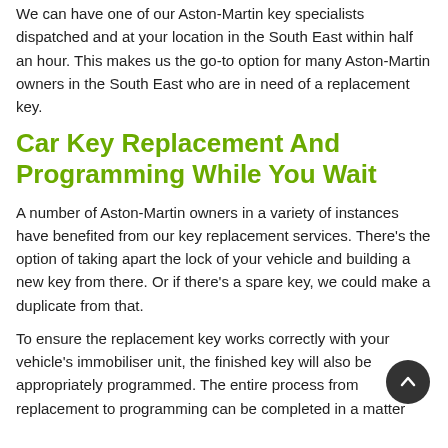We can have one of our Aston-Martin key specialists dispatched and at your location in the South East within half an hour. This makes us the go-to option for many Aston-Martin owners in the South East who are in need of a replacement key.
Car Key Replacement And Programming While You Wait
A number of Aston-Martin owners in a variety of instances have benefited from our key replacement services. There's the option of taking apart the lock of your vehicle and building a new key from there. Or if there's a spare key, we could make a duplicate from that.
To ensure the replacement key works correctly with your vehicle's immobiliser unit, the finished key will also be appropriately programmed. The entire process from replacement to programming can be completed in a matter